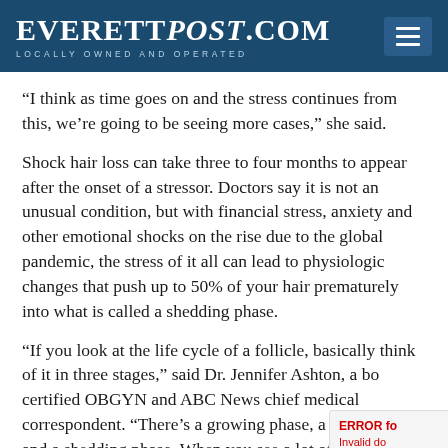EverettPost.com — Locally Owned and Operated
“I think as time goes on and the stress continues from this, we’re going to be seeing more cases,” she said.
Shock hair loss can take three to four months to appear after the onset of a stressor. Doctors say it is not an unusual condition, but with financial stress, anxiety and other emotional shocks on the rise due to the global pandemic, the stress of it all can lead to physiologic changes that push up to 50% of your hair prematurely into what is called a shedding phase.
“If you look at the life cycle of a follicle, basically think of it in three stages,” said Dr. Jennifer Ashton, a board-certified OBGYN and ABC News chief medical correspondent. “There’s a growing phase, a resting phase and a shedding phase. When you see a lot of shedding, that’s when people perceive hair loss.”
Shock hair loss is often due to a psychological...